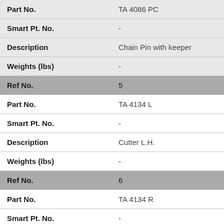| Field | Value |
| --- | --- |
| Part No. | TA 4086 PC |
| Smart Pt. No. | - |
| Description | Chain Pin with keeper |
| Weights (lbs) | - |
| Ref No. | 5 |
| Part No. | TA 4134 L |
| Smart Pt. No. | - |
| Description | Cutter L.H. |
| Weights (lbs) | - |
| Ref No. | 6 |
| Part No. | TA 4134 R |
| Smart Pt. No. | - |
| Description | Cutter R.H. |